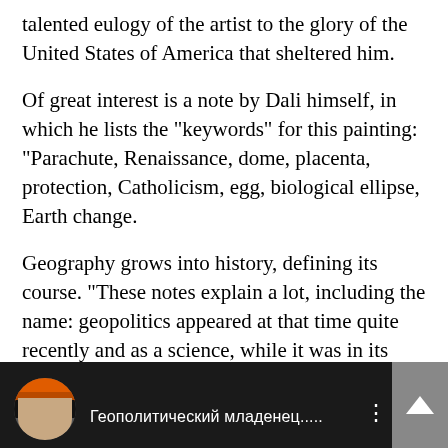talented eulogy of the artist to the glory of the United States of America that sheltered him.
Of great interest is a note by Dali himself, in which he lists the "keywords" for this painting: "Parachute, Renaissance, dome, placenta, protection, Catholicism, egg, biological ellipse, Earth change.
Geography grows into history, defining its course. "These notes explain a lot, including the name: geopolitics appeared at that time quite recently and as a science, while it was in its childhood state…Read more
[Figure (screenshot): Video thumbnail showing a person with a colorful hat, dark background, with Cyrillic text 'Геополитический младенец.....' and a three-dot menu icon. A grey scroll-to-top button is overlaid on the right.]